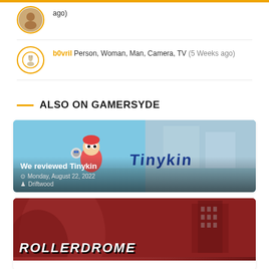ago)
b0vril Person, Woman, Man, Camera, TV (5 Weeks ago)
ALSO ON GAMERSYDE
[Figure (screenshot): Tinykin game review card with colorful cartoon character art, text: We reviewed Tinykin, Monday, August 22, 2022, Driftwood]
[Figure (screenshot): Rollerdrome game card with dark red background and large white ROLLERDROME text]